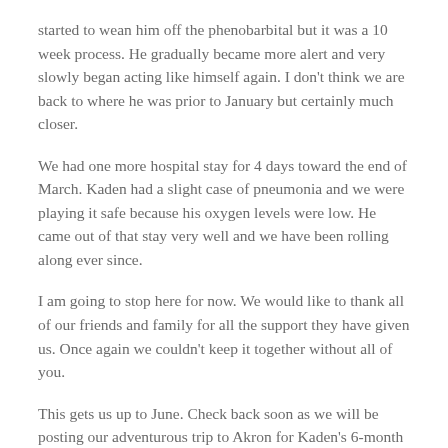started to wean him off the phenobarbital but it was a 10 week process. He gradually became more alert and very slowly began acting like himself again. I don't think we are back to where he was prior to January but certainly much closer.
We had one more hospital stay for 4 days toward the end of March. Kaden had a slight case of pneumonia and we were playing it safe because his oxygen levels were low. He came out of that stay very well and we have been rolling along ever since.
I am going to stop here for now. We would like to thank all of our friends and family for all the support they have given us. Once again we couldn't keep it together without all of you.
This gets us up to June. Check back soon as we will be posting our adventurous trip to Akron for Kaden's 6-month check up.